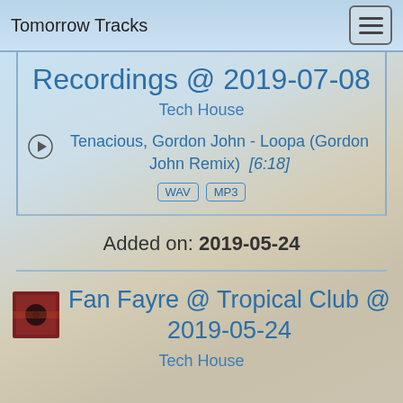Tomorrow Tracks
Recordings @ 2019-07-08
Tech House
Tenacious, Gordon John - Loopa (Gordon John Remix)  [6:18]
WAV  MP3
Added on: 2019-05-24
Fan Fayre @ Tropical Club @ 2019-05-24
Tech House